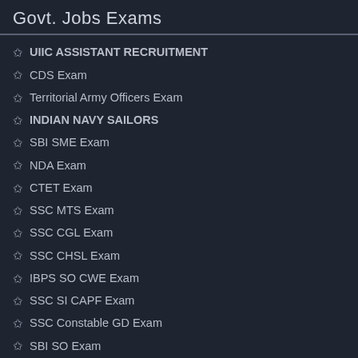Govt. Jobs Exams
UIIC ASSISTANT RECRUITMENT
CDS Exam
Territorial Army Officers Exam
INDIAN NAVY SAILORS
SBI SME Exam
NDA Exam
CTET Exam
SSC MTS Exam
SSC CGL Exam
SSC CHSL Exam
IBPS SO CWE Exam
SSC SI CAPF Exam
SSC Constable GD Exam
SBI SO Exam
SSC Stenographer Exam
SBI PO Exam